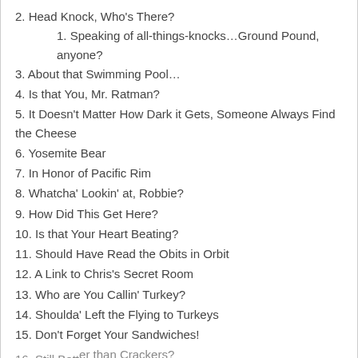2. Head Knock, Who's There?
1. Speaking of all-things-knocks…Ground Pound, anyone?
3. About that Swimming Pool…
4. Is that You, Mr. Ratman?
5. It Doesn't Matter How Dark it Gets, Someone Always Find the Cheese
6. Yosemite Bear
7. In Honor of Pacific Rim
8. Whatcha' Lookin' at, Robbie?
9. How Did This Get Here?
10. Is that Your Heart Beating?
11. Should Have Read the Obits in Orbit
12. A Link to Chris's Secret Room
13. Who are You Callin' Turkey?
14. Shoulda' Left the Flying to Turkeys
15. Don't Forget Your Sandwiches!
16. Still Better than Crackers?